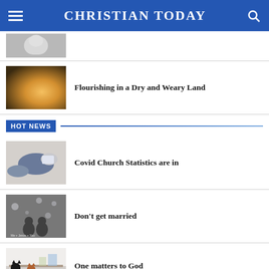CHRISTIAN TODAY
[Figure (photo): Partial article image - top of page, cropped]
[Figure (photo): Warm light gradient - illustrating 'Flourishing in a Dry and Weary Land']
Flourishing in a Dry and Weary Land
HOT NEWS
[Figure (photo): Person lying down using a tablet/iPad]
Covid Church Statistics are in
[Figure (photo): Black and white photo of couple with text 'Me + Jesus + You']
Don't get married
[Figure (photo): Cats on a shelf or surface in a room]
One matters to God